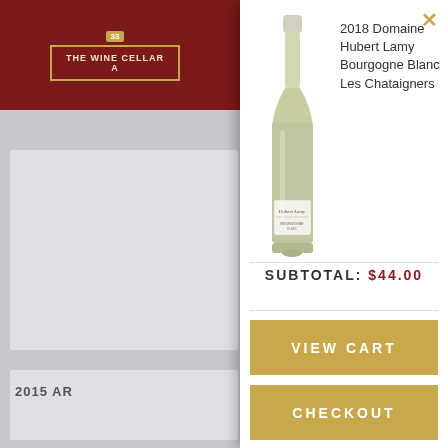[Figure (screenshot): Background wine cellar website page with dark red header and 'THE WINE CELLAR' logo]
2015 AR
[Figure (photo): Wine bottle of 2018 Domaine Hubert Lamy Bourgogne Blanc Les Chataigners with white label reading 'Hubert Lamy']
2018 Domaine Hubert Lamy Bourgogne Blanc Les Chataigners
SUBTOTAL: $44.00
VIEW CART
CHECKOUT